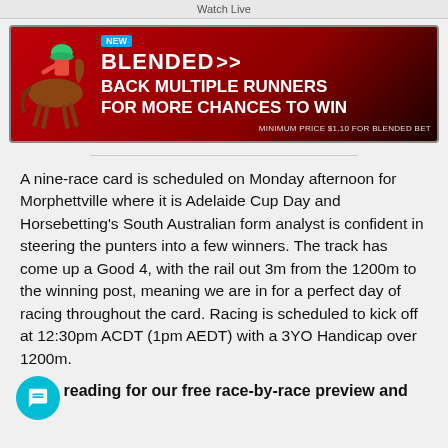Watch Live
[Figure (infographic): Red gradient advertisement banner for 'Blended' betting product featuring a horse and jockey image on the left, 'NEW BLENDED →→' heading, 'BACK MULTIPLE RUNNERS FOR MORE CHANCES TO WIN' main text, and 'MINIMUM PRICE $1.10 FOR BLENDED BET' fine print.]
A nine-race card is scheduled on Monday afternoon for Morphettville where it is Adelaide Cup Day and Horsebetting's South Australian form analyst is confident in steering the punters into a few winners. The track has come up a Good 4, with the rail out 3m from the 1200m to the winning post, meaning we are in for a perfect day of racing throughout the card. Racing is scheduled to kick off at 12:30pm ACDT (1pm AEDT) with a 3YO Handicap over 1200m.
Keep reading for our free race-by-race preview and